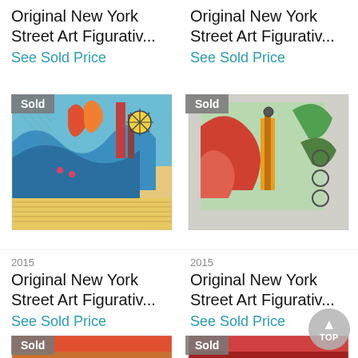Original New York Street Art Figurativ...
See Sold Price
Original New York Street Art Figurativ...
See Sold Price
[Figure (photo): Colorful abstract New York street art painting with waves, buildings and city elements; 'Sold' badge overlay]
[Figure (photo): Colorful abstract New York street art figurative painting on light background; 'Sold' badge overlay]
2015
Original New York Street Art Figurativ...
See Sold Price
2015
Original New York Street Art Figurativ...
See Sold Price
[Figure (photo): Partial view of colorful street art painting; 'Sold' badge overlay]
[Figure (photo): Partial view of colorful street art painting; 'Sold' badge overlay]